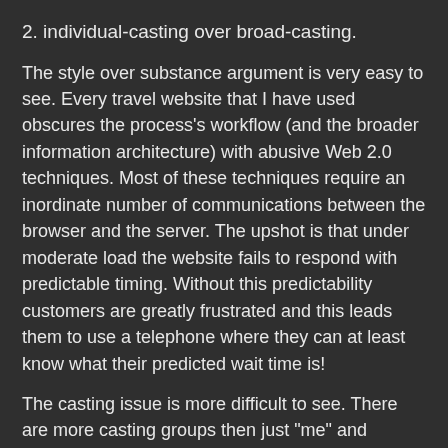2. individual-casting over broad-casting.
The style over substance argument is very easy to see. Every travel website that I have used obscures the process's workflow (and the broader information architecture) with abusive Web 2.0 techniques. Most of these techniques require an inordinate number of communications between the browser and the server. The upshot is that under moderate load the website fails to respond with predictable timing. Without this predictability customers are greatly frustrated and this leads them to use a telephone where they can at least know what their predicted wait time is!
The casting issue is more difficult to see. There are more casting groups then just "me" and "everyone else". Depending on your service, customers can be group into multiple and overlaps groups. For example, specific airport groups, country groups, traveling with children groups, etc. Each of these groups have common and unique information and advice needs in times of emergency (and times of calm!). The general public group is, generally, the most